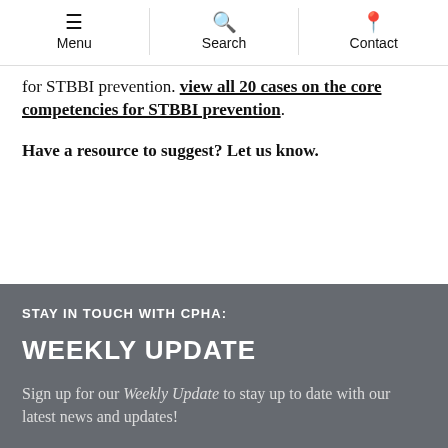Menu | Search | Contact
for STBBI prevention. View all 20 cases on the core competencies for STBBI prevention.
Have a resource to suggest? Let us know.
STAY IN TOUCH WITH CPHA:
WEEKLY UPDATE
Sign up for our Weekly Update to stay up to date with our latest news and updates!